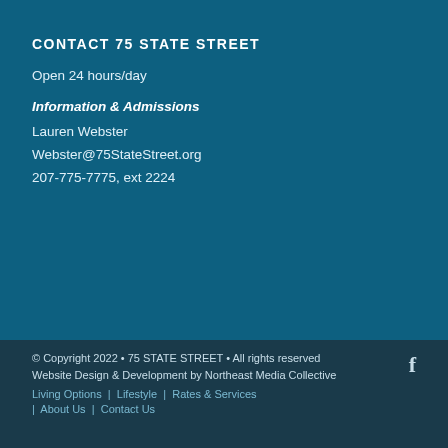CONTACT 75 STATE STREET
Open 24 hours/day
Information & Admissions
Lauren Webster
Webster@75StateStreet.org
207-775-7775, ext 2224
© Copyright 2022 • 75 STATE STREET • All rights reserved
Website Design & Development by Northeast Media Collective
Living Options | Lifestyle | Rates & Services | About Us | Contact Us